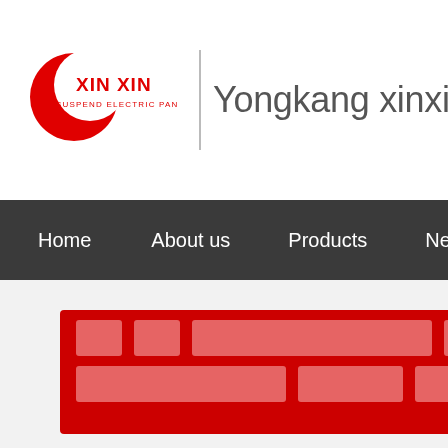[Figure (logo): XIN XIN Suspend Electric Pan logo with red crescent moon and text]
Yongkang xinxin Ele
Home   About us   Products   Ne
[Figure (other): Redacted/blurred red banner with contact or product information]